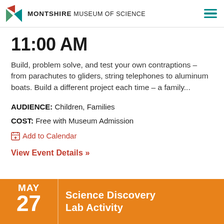MONTSHIRE MUSEUM OF SCIENCE
11:00 AM
Build, problem solve, and test your own contraptions – from parachutes to gliders, string telephones to aluminum boats. Build a different project each time – a family...
AUDIENCE: Children, Families
COST: Free with Museum Admission
Add to Calendar
View Event Details »
MAY 27 Science Discovery Lab Activity